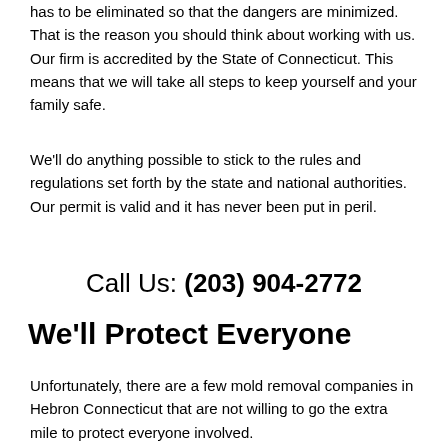has to be eliminated so that the dangers are minimized. That is the reason you should think about working with us. Our firm is accredited by the State of Connecticut. This means that we will take all steps to keep yourself and your family safe.
We'll do anything possible to stick to the rules and regulations set forth by the state and national authorities. Our permit is valid and it has never been put in peril.
Call Us: (203) 904-2772
We'll Protect Everyone
Unfortunately, there are a few mold removal companies in Hebron Connecticut that are not willing to go the extra mile to protect everyone involved.